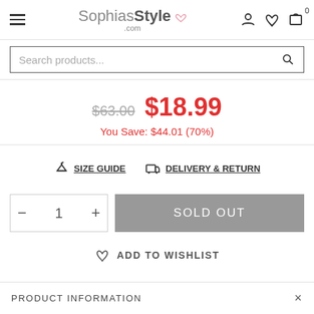SophiasStyle.com — navigation header with hamburger menu, logo, and icons (user, wishlist, cart with 0)
Search products...
$63.00  $18.99
You Save: $44.01 (70%)
SIZE GUIDE   DELIVERY & RETURN
- 1 +   SOLD OUT
ADD TO WISHLIST
PRODUCT INFORMATION   ×